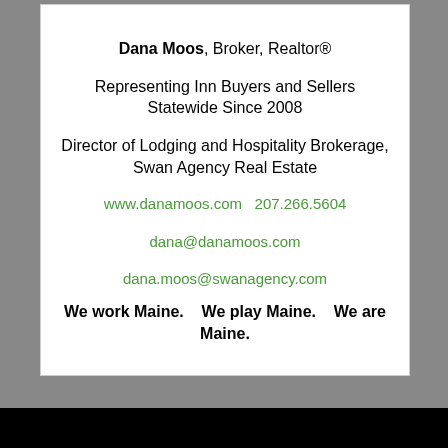Dana Moos, Broker, Realtor®
Representing Inn Buyers and Sellers Statewide Since 2008
Director of Lodging and Hospitality Brokerage, Swan Agency Real Estate
www.danamoos.com   207.266.5604
dana@danamoos.com
dana.moos@swanagency.com
We work Maine.   We play Maine.   We are Maine.